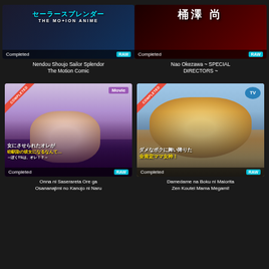[Figure (illustration): Thumbnail for Nendou Shoujo Sailor Splendor The Motion Comic - dark blue space themed with Japanese text, Completed badge, RAW badge]
[Figure (illustration): Thumbnail for Nao Okezawa SPECIAL DIRECTORS - dark red themed with kanji characters 桶澤 尚, Completed badge, RAW badge]
Nendou Shoujo Sailor Splendor The Motion Comic
Nao Okezawa ~ SPECIAL DIRECTORS ~
[Figure (illustration): Thumbnail for Onna ni Saserareta Ore ga - anime girl with dark hair school uniform, COMPLETED ribbon, Movie badge, RAW badge]
[Figure (illustration): Thumbnail for Damedame na Boku ni Maiorita Zen Koutei Mama Megami! - blonde anime girl with golden accessories, COMPLETED ribbon, TV badge, RAW badge]
Onna ni Saserareta Ore ga Osananajimi no Kanojo ni Naru
Damedame na Boku ni Maiorita Zen Koutei Mama Megami!